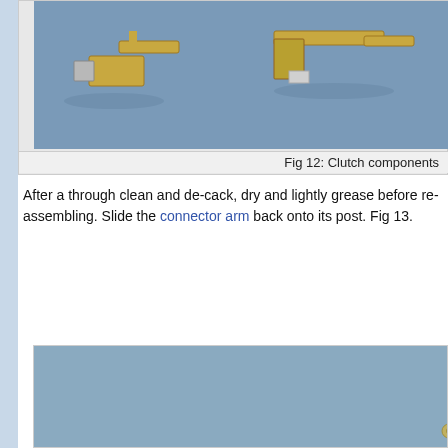[Figure (photo): Photo of clutch components laid out on a blue fabric surface, showing metallic connector parts]
Fig 12: Clutch components
After a through clean and de-cack, dry and lightly grease before re-assembling. Slide the connector arm back onto its post. Fig 13.
[Figure (photo): Photo of a dark circular clutch disc with metal posts/pins and a central spindle, on a blue fabric surface]